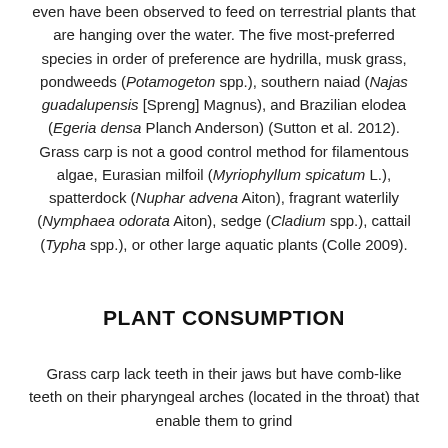even have been observed to feed on terrestrial plants that are hanging over the water. The five most-preferred species in order of preference are hydrilla, musk grass, pondweeds (Potamogeton spp.), southern naiad (Najas guadalupensis [Spreng] Magnus), and Brazilian elodea (Egeria densa Planch Anderson) (Sutton et al. 2012). Grass carp is not a good control method for filamentous algae, Eurasian milfoil (Myriophyllum spicatum L.), spatterdock (Nuphar advena Aiton), fragrant waterlily (Nymphaea odorata Aiton), sedge (Cladium spp.), cattail (Typha spp.), or other large aquatic plants (Colle 2009).
PLANT CONSUMPTION
Grass carp lack teeth in their jaws but have comb-like teeth on their pharyngeal arches (located in the throat) that enable them to grind